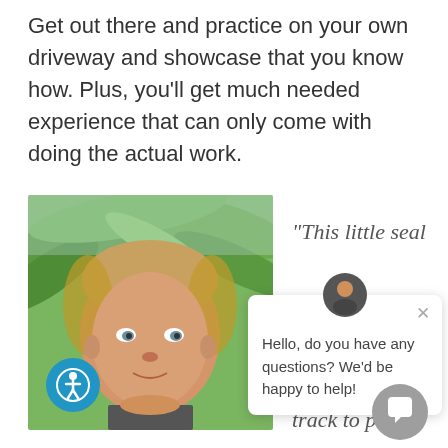Get out there and practice on your own driveway and showcase that you know how. Plus, you'll get much needed experience that can only come with doing the actual work.
[Figure (photo): Portrait photo of a middle-aged man with short blonde hair, wearing a dark shirt, with green palm fronds in the background. An accessibility icon (blue circle with person figure) overlays the bottom-left corner.]
"This little seal
Hello, do you have any questions? We'd be happy to help!
years ago is track to pos